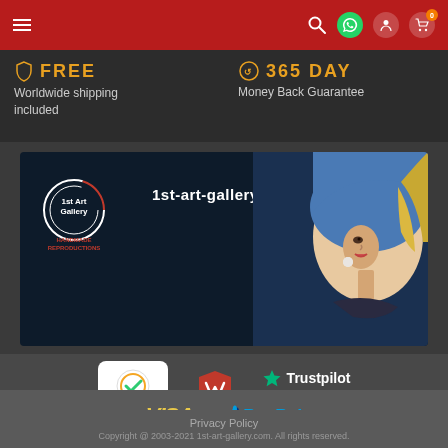Navigation header with hamburger menu, search, WhatsApp, user, and cart icons
FREE Worldwide shipping included
365 DAY Money Back Guarantee
[Figure (screenshot): 1st Art Gallery banner with logo and Girl with a Pearl Earring painting, showing URL 1st-art-gallery.com]
[Figure (logo): Norton, McAfee security logos and Trustpilot Excellent 5-star rating]
[Figure (logo): VISA and PayPal payment logos]
Privacy Policy
Copyright @ 2003-2021 1st-art-gallery.com. All rights reserved.